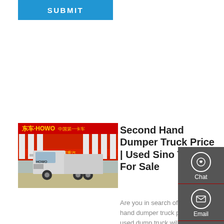[Figure (other): Blue SUBMIT button]
[Figure (photo): White HOWO semi truck parked in front of a red dealership building with Chinese text and HOWO branding]
Second Hand Dumper Truck Price | Used Sino Trucks For Sale
Are you in search of a second hand dumper truck price? The used dump truck will be the best choice for the transportation of goods. You don't need to worry about your transporting business as this truck is very durable and
[Figure (infographic): Vertical sidebar with dark gray background containing Chat (headset icon), Email (envelope icon), Contact (chat bubble icon), and Top (up arrow icon) buttons]